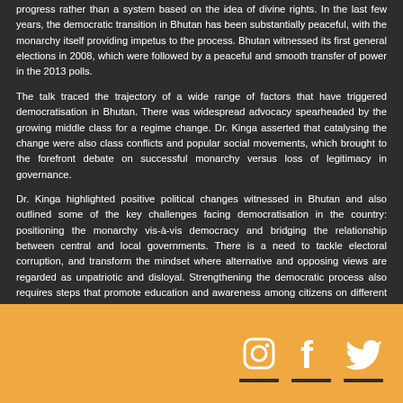progress rather than a system based on the idea of divine rights. In the last few years, the democratic transition in Bhutan has been substantially peaceful, with the monarchy itself providing impetus to the process. Bhutan witnessed its first general elections in 2008, which were followed by a peaceful and smooth transfer of power in the 2013 polls.
The talk traced the trajectory of a wide range of factors that have triggered democratisation in Bhutan. There was widespread advocacy spearheaded by the growing middle class for a regime change. Dr. Kinga asserted that catalysing the change were also class conflicts and popular social movements, which brought to the forefront debate on successful monarchy versus loss of legitimacy in governance.
Dr. Kinga highlighted positive political changes witnessed in Bhutan and also outlined some of the key challenges facing democratisation in the country: positioning the monarchy vis-à-vis democracy and bridging the relationship between central and local governments. There is a need to tackle electoral corruption, and transform the mindset where alternative and opposing views are regarded as unpatriotic and disloyal. Strengthening the democratic process also requires steps that promote education and awareness among citizens on different facets of democracy since it is viewed differently by various strata of society.
[Figure (illustration): Social media icons (Instagram, Facebook, Twitter) in white on orange background with dark underline bars]